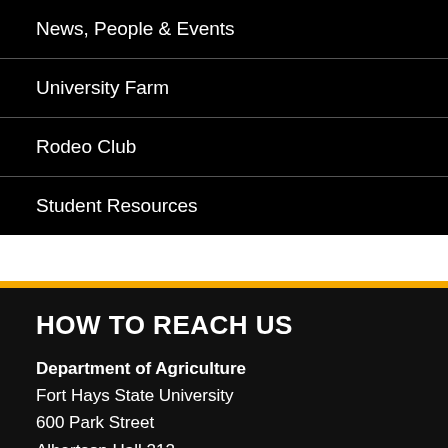News, People & Events
University Farm
Rodeo Club
Student Resources
HOW TO REACH US
Department of Agriculture
Fort Hays State University
600 Park Street
Albertson Hall 212
Phone 785-628-4196